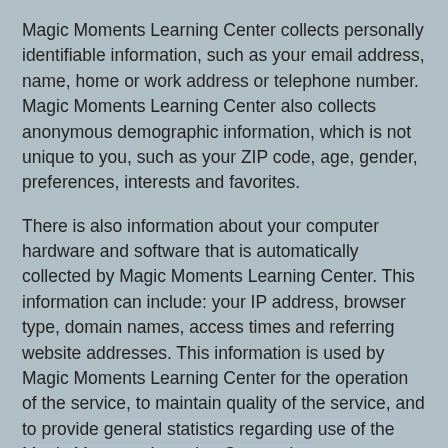Magic Moments Learning Center collects personally identifiable information, such as your email address, name, home or work address or telephone number. Magic Moments Learning Center also collects anonymous demographic information, which is not unique to you, such as your ZIP code, age, gender, preferences, interests and favorites.
There is also information about your computer hardware and software that is automatically collected by Magic Moments Learning Center. This information can include: your IP address, browser type, domain names, access times and referring website addresses. This information is used by Magic Moments Learning Center for the operation of the service, to maintain quality of the service, and to provide general statistics regarding use of the Magic Moments Learning Center site.
Please be advised that if you click the link, you can...